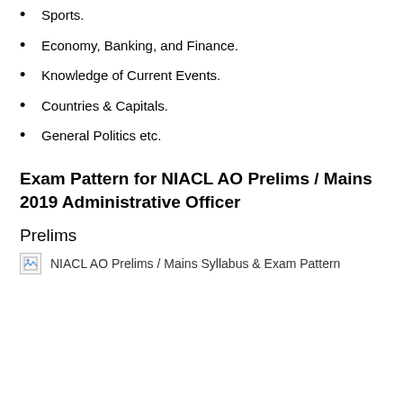Sports.
Economy, Banking, and Finance.
Knowledge of Current Events.
Countries & Capitals.
General Politics etc.
Exam Pattern for NIACL AO Prelims / Mains 2019 Administrative Officer
Prelims
[Figure (other): Broken image placeholder labeled 'NIACL AO Prelims / Mains Syllabus & Exam Pattern']